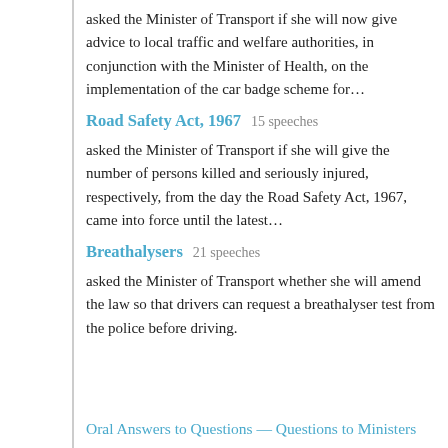asked the Minister of Transport if she will now give advice to local traffic and welfare authorities, in conjunction with the Minister of Health, on the implementation of the car badge scheme for…
Road Safety Act, 1967   15 speeches
asked the Minister of Transport if she will give the number of persons killed and seriously injured, respectively, from the day the Road Safety Act, 1967, came into force until the latest…
Breathalysers   21 speeches
asked the Minister of Transport whether she will amend the law so that drivers can request a breathalyser test from the police before driving.
Oral Answers to Questions — Questions to Ministers